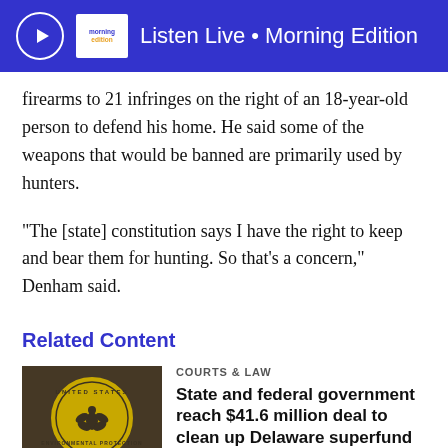Listen Live • Morning Edition
firearms to 21 infringes on the right of an 18-year-old person to defend his home. He said some of the weapons that would be banned are primarily used by hunters.
“The [state] constitution says I have the right to keep and bear them for hunting. So that’s a concern,” Denham said.
Related Content
COURTS & LAW
State and federal government reach $41.6 million deal to clean up Delaware superfund site
3 months ago
‘To make sure the next Uvalde’ doesn’t